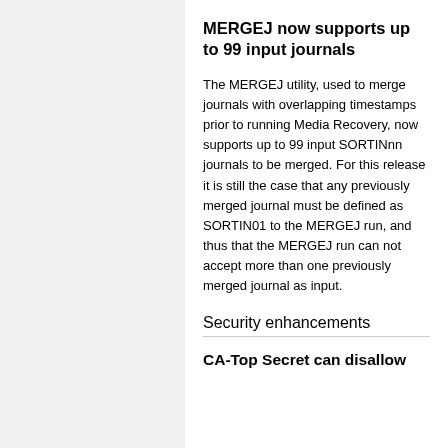MERGEJ now supports up to 99 input journals
The MERGEJ utility, used to merge journals with overlapping timestamps prior to running Media Recovery, now supports up to 99 input SORTINnn journals to be merged. For this release it is still the case that any previously merged journal must be defined as SORTIN01 to the MERGEJ run, and thus that the MERGEJ run can not accept more than one previously merged journal as input.
Security enhancements
CA-Top Secret can disallow